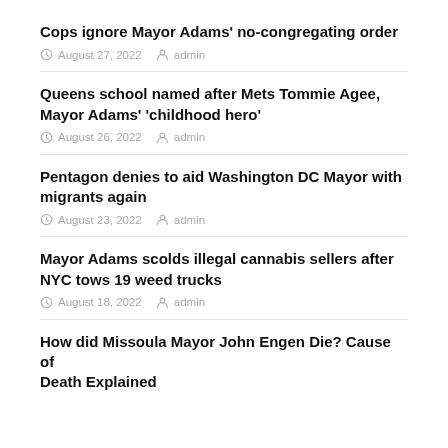Cops ignore Mayor Adams' no-congregating order
August 27, 2022  admin
Queens school named after Mets Tommie Agee, Mayor Adams' 'childhood hero'
August 26, 2022  admin
Pentagon denies to aid Washington DC Mayor with migrants again
August 23, 2022  admin
Mayor Adams scolds illegal cannabis sellers after NYC tows 19 weed trucks
August 18, 2022  admin
How did Missoula Mayor John Engen Die? Cause of Death Explained